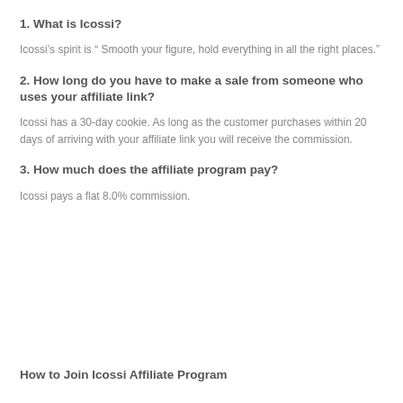1. What is Icossi?
Icossi’s spirit is “ Smooth your figure, hold everything in all the right places.”
2. How long do you have to make a sale from someone who uses your affiliate link?
Icossi has a 30-day cookie. As long as the customer purchases within 20 days of arriving with your affiliate link you will receive the commission.
3. How much does the affiliate program pay?
Icossi pays a flat 8.0% commission.
How to Join Icossi Affiliate Program